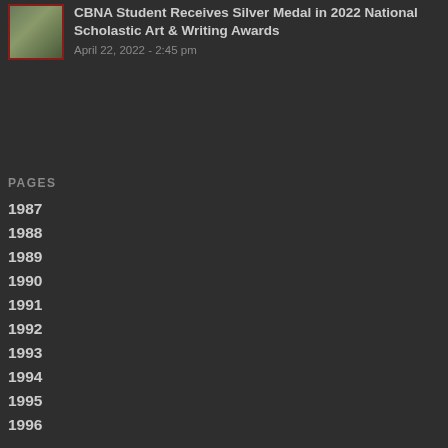CBNA Student Receives Silver Medal in 2022 National Scholastic Art & Writing Awards
April 22, 2022 - 2:45 pm
PAGES
1987
1988
1989
1990
1991
1992
1993
1994
1995
1996